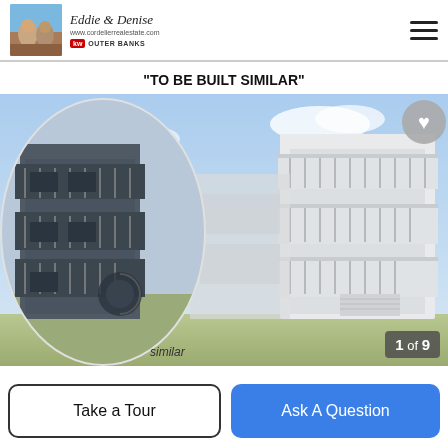Eddie and Denise | www.cordellerrealestate.com | KW OUTER BANKS
"TO BE BUILT SIMILAR"
[Figure (photo): Architectural rendering of a multi-story white beach house with balconies. An oval-framed inset shows a similar building on the left. The word 'similar' appears at the bottom of the oval inset. A heart/favorite button appears in the top right corner. A '1 of 9' counter badge appears at the bottom right.]
1 of 9
Take a Tour
Ask A Question